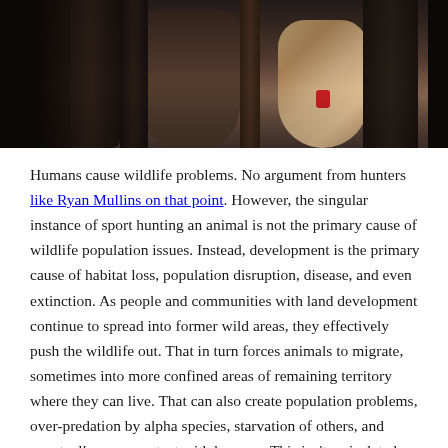[Figure (photo): Dark moody photograph showing hunters or hunting-related scene, partial view of legs and animal, dark tones with brown and tan colors, small red element visible]
Humans cause wildlife problems. No argument from hunters like Ryan Mullins on that point. However, the singular instance of sport hunting an animal is not the primary cause of wildlife population issues. Instead, development is the primary cause of habitat loss, population disruption, disease, and even extinction. As people and communities with land development continue to spread into former wild areas, they effectively push the wildlife out. That in turn forces animals to migrate, sometimes into more confined areas of remaining territory where they can live. That can also create population problems, over-predation by alpha species, starvation of others, and eventually more contact with humans. This isn't an isolated case, per Ryan Mullins; many rancherias and neighborhoods are seeing coyotes and mountain lions